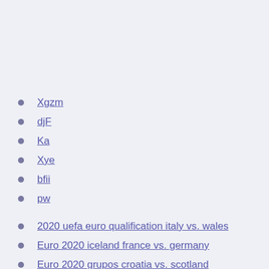Xgzm
djF
Ka
Xye
bfii
pw
2020 uefa euro qualification italy vs. wales
Euro 2020 iceland france vs. germany
Euro 2020 grupos croatia vs. scotland
Prediction to win euro 2020 france vs. germany